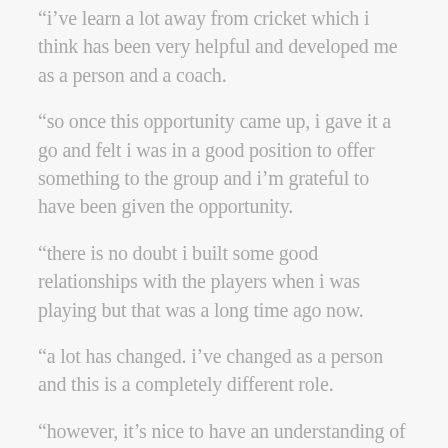“i’ve learn a lot away from cricket which i think has been very helpful and developed me as a person and a coach.
“so once this opportunity came up, i gave it a go and felt i was in a good position to offer something to the group and i’m grateful to have been given the opportunity.
“there is no doubt i built some good relationships with the players when i was playing but that was a long time ago now.
“a lot has changed. i’ve changed as a person and this is a completely different role.
“however, it’s nice to have an understanding of some of the players characters and technical work. it’s a really exciting opportunity.”